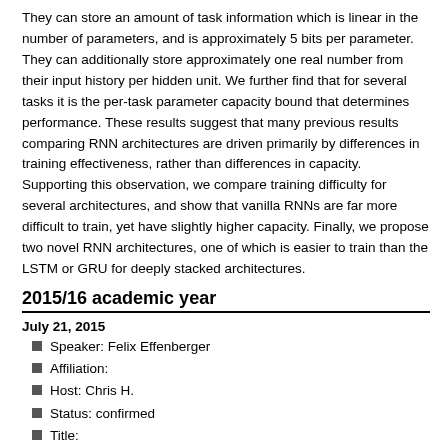They can store an amount of task information which is linear in the number of parameters, and is approximately 5 bits per parameter. They can additionally store approximately one real number from their input history per hidden unit. We further find that for several tasks it is the per-task parameter capacity bound that determines performance. These results suggest that many previous results comparing RNN architectures are driven primarily by differences in training effectiveness, rather than differences in capacity. Supporting this observation, we compare training difficulty for several architectures, and show that vanilla RNNs are far more difficult to train, yet have slightly higher capacity. Finally, we propose two novel RNN architectures, one of which is easier to train than the LSTM or GRU for deeply stacked architectures.
2015/16 academic year
July 21, 2015
Speaker: Felix Effenberger
Affiliation:
Host: Chris H.
Status: confirmed
Title:
Abstract
July 22, 2015